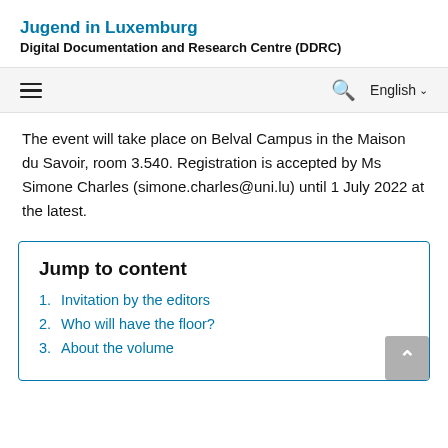Jugend in Luxemburg
Digital Documentation and Research Centre (DDRC)
The event will take place on Belval Campus in the Maison du Savoir, room 3.540. Registration is accepted by Ms Simone Charles (simone.charles@uni.lu) until 1 July 2022 at the latest.
Jump to content
1. Invitation by the editors
2. Who will have the floor?
3. About the volume